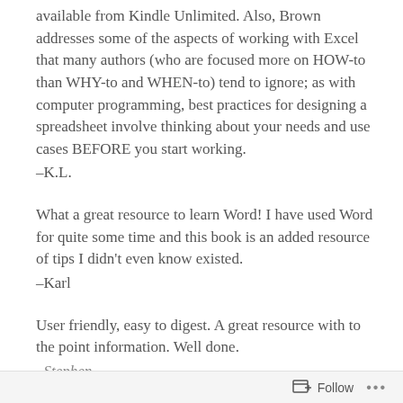available from Kindle Unlimited. Also, Brown addresses some of the aspects of working with Excel that many authors (who are focused more on HOW-to than WHY-to and WHEN-to) tend to ignore; as with computer programming, best practices for designing a spreadsheet involve thinking about your needs and use cases BEFORE you start working.
–K.L.
What a great resource to learn Word! I have used Word for quite some time and this book is an added resource of tips I didn't even know existed.
–Karl
User friendly, easy to digest. A great resource with to the point information. Well done.
–Stephen
Follow ...